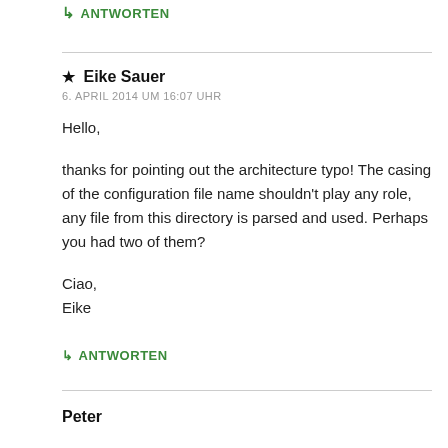↳ ANTWORTEN
★ Eike Sauer
6. APRIL 2014 UM 16:07 UHR
Hello,

thanks for pointing out the architecture typo! The casing of the configuration file name shouldn't play any role, any file from this directory is parsed and used. Perhaps you had two of them?

Ciao,
Eike
↳ ANTWORTEN
Peter